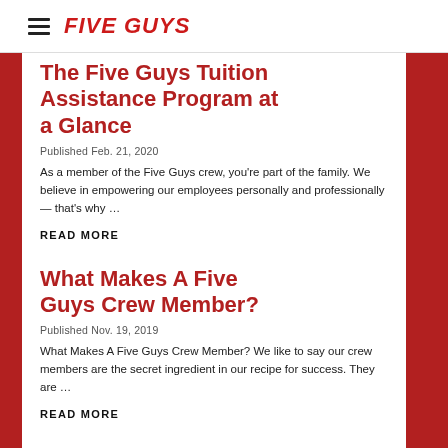FIVE GUYS
The Five Guys Tuition Assistance Program at a Glance
Published Feb. 21, 2020
As a member of the Five Guys crew, you're part of the family. We believe in empowering our employees personally and professionally — that's why …
READ MORE
What Makes A Five Guys Crew Member?
Published Nov. 19, 2019
What Makes A Five Guys Crew Member? We like to say our crew members are the secret ingredient in our recipe for success. They are …
READ MORE
Five Guys Games: Food